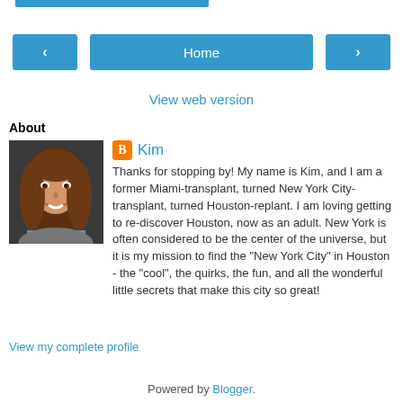[Figure (other): Top blue progress/navigation bar partial]
[Figure (other): Navigation row with back arrow button, Home button, and forward arrow button]
View web version
About
[Figure (photo): Profile photo of Kim, a woman with long brown hair smiling]
Kim
Thanks for stopping by! My name is Kim, and I am a former Miami-transplant, turned New York City-transplant, turned Houston-replant. I am loving getting to re-discover Houston, now as an adult. New York is often considered to be the center of the universe, but it is my mission to find the "New York City" in Houston - the "cool", the quirks, the fun, and all the wonderful little secrets that make this city so great!
View my complete profile
Powered by Blogger.